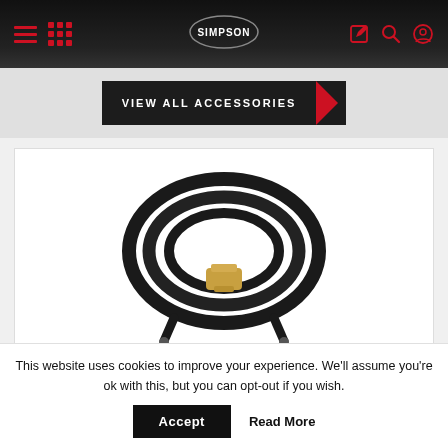Simpson navigation bar with hamburger menu, grid icon, Simpson logo, edit icon, search icon, account icon
[Figure (screenshot): VIEW ALL ACCESSORIES button banner with dark background and red triangle arrow]
[Figure (photo): Black pressure washer hose coiled with brass connector fittings, displayed on white background]
This website uses cookies to improve your experience. We'll assume you're ok with this, but you can opt-out if you wish.
Accept
Read More